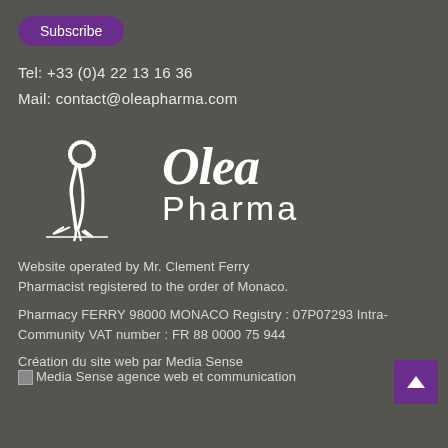Subscribe
Tel: +33 (0)4 22 13 16 36
Mail: contact@oleapharma.com
[Figure (logo): Olea Pharma logo with stylized olive tree and white text reading 'Olea Pharma']
Website operated by Mr. Clement Ferry Pharmacist registered to the order of Monaco.
Pharmacy FERRY 98000 MONACO Registry : 07P07293 Intra-Community VAT number : FR 88 0000 75 944
Création du site web par Media Sense
[Figure (illustration): Media Sense agence web et communication image placeholder]